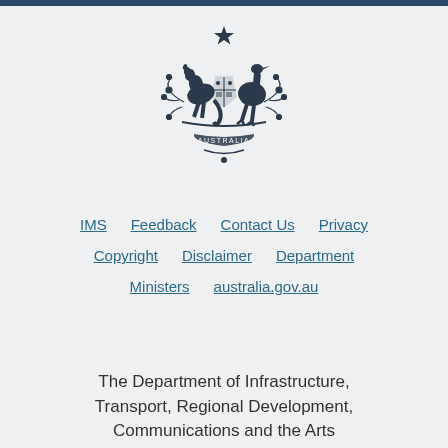[Figure (logo): Australian Government Coat of Arms - featuring kangaroo and emu flanking a shield, with floral branches and 'AUSTRALIA' banner below, dark navy/black silhouette style]
IMS   Feedback   Contact Us   Privacy
Copyright   Disclaimer   Department
Ministers   australia.gov.au
The Department of Infrastructure, Transport, Regional Development, Communications and the Arts